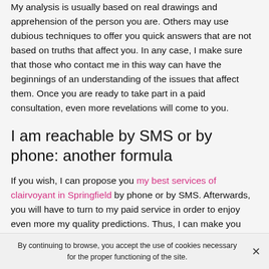My analysis is usually based on real drawings and apprehension of the person you are. Others may use dubious techniques to offer you quick answers that are not based on truths that affect you. In any case, I make sure that those who contact me in this way can have the beginnings of an understanding of the issues that affect them. Once you are ready to take part in a paid consultation, even more revelations will come to you.
I am reachable by SMS or by phone: another formula
If you wish, I can propose you my best services of clairvoyant in Springfield by phone or by SMS. Afterwards, you will have to turn to my paid service in order to enjoy even more my quality predictions. Thus, I can make you benefit from a first free consultation so that you judge the satisfactory results. By email, the principle is not so
By continuing to browse, you accept the use of cookies necessary for the proper functioning of the site.